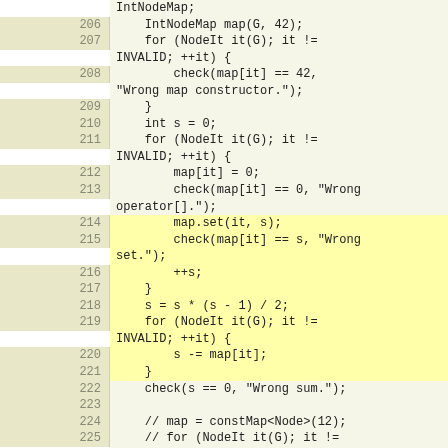Source code listing lines 206-230, C++ code for graph node map testing